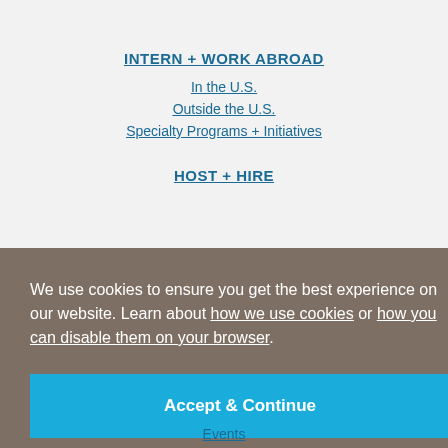INTERN + WORK ABROAD
In the U.S.
Outside the U.S.
Specialty Programs + Initiatives
HOST + HIRE
We use cookies to ensure you get the best experience on our website. Learn about how we use cookies or how you can disable them on your browser.
Accept & Continue
Events